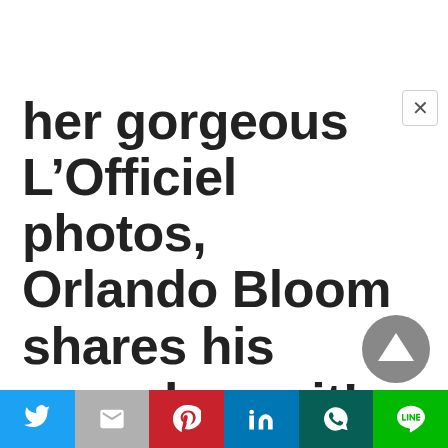her gorgeous L’Officiel photos, Orlando Bloom shares his remarks on it!
[Figure (other): Scroll-to-top arrow button (dark grey circle with upward triangle)]
[Figure (other): Social share bar with icons: Twitter (blue), Gmail (grey), Pinterest (red), LinkedIn (blue), WhatsApp (dark teal), Line (green)]